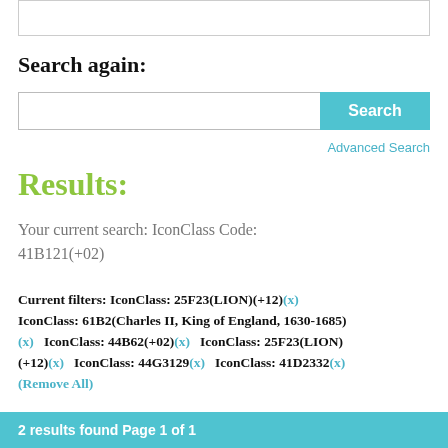Search again:
[Figure (screenshot): Search input box with Search button and Advanced Search link]
Results:
Your current search: IconClass Code: 41B121(+02)
Current filters: IconClass: 25F23(LION)(+12)(x) IconClass: 61B2(Charles II, King of England, 1630-1685) (x)  IconClass: 44B62(+02)(x)  IconClass: 25F23(LION)(+12)(x)  IconClass: 44G3129(x)  IconClass: 41D2332(x) (Remove All)
2 results found Page 1 of 1